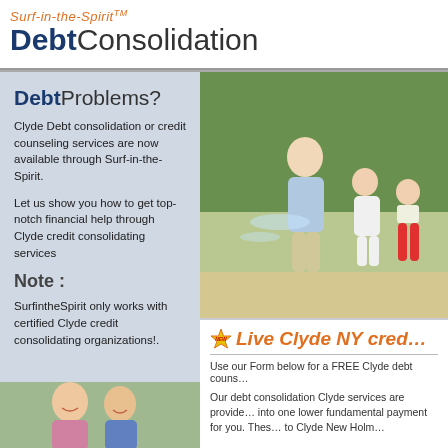Surf-in-the-Spirit™ Debt Consolidation
Debt Problems?
Clyde Debt consolidation or credit counseling services are now available through Surf-in-the-Spirit.
Let us show you how to get top-notch financial help through Clyde credit consolidating services
Note :
SurfintheSpirit only works with certified Clyde credit consolidating organizations!.
[Figure (photo): Family playing outdoors with water sprinkler, green hedge background]
[Figure (photo): Smiling couple portrait outdoors]
Live Clyde NY cred…
Use our Form below for a FREE Clyde debt couns…
Our debt consolidation Clyde services are provide… into one lower fundamental payment for you. Thes… to Clyde New Holm…